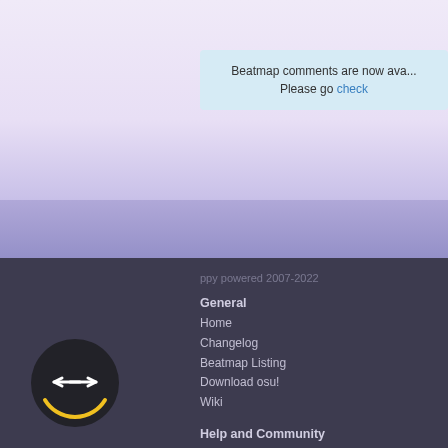Beatmap comments are now ava...
Please go check
ppy powered 2007-2022
General
Home
Changelog
Beatmap Listing
Download osu!
Wiki
Help and Community
FAQ
Community Forums
Live
Help Centre
Support osu!
Supporter Tags
Merchandise
[Figure (logo): osu! spinning loading/transition icon with yellow arc at bottom, arrows pointing left and right]